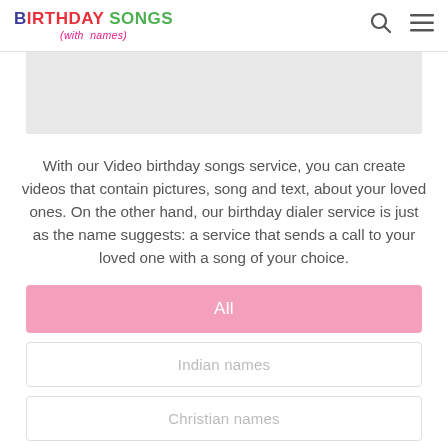BIRTHDAY SONGS (with names)
[Figure (other): Gray advertisement/placeholder banner box]
With our Video birthday songs service, you can create videos that contain pictures, song and text, about your loved ones. On the other hand, our birthday dialer service is just as the name suggests: a service that sends a call to your loved one with a song of your choice.
All
Indian names
Christian names